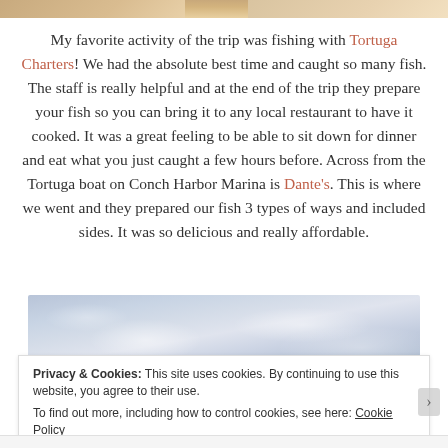[Figure (photo): Partial top edge of a photo showing skin tones, cropped at top of page]
My favorite activity of the trip was fishing with Tortuga Charters! We had the absolute best time and caught so many fish. The staff is really helpful and at the end of the trip they prepare your fish so you can bring it to any local restaurant to have it cooked. It was a great feeling to be able to sit down for dinner and eat what you just caught a few hours before. Across from the Tortuga boat on Conch Harbor Marina is Dante's. This is where we went and they prepared our fish 3 types of ways and included sides. It was so delicious and really affordable.
[Figure (photo): Partial photo of sky with clouds, cropped, used as background for cookie banner area]
Privacy & Cookies: This site uses cookies. By continuing to use this website, you agree to their use.
To find out more, including how to control cookies, see here: Cookie Policy
Close and accept